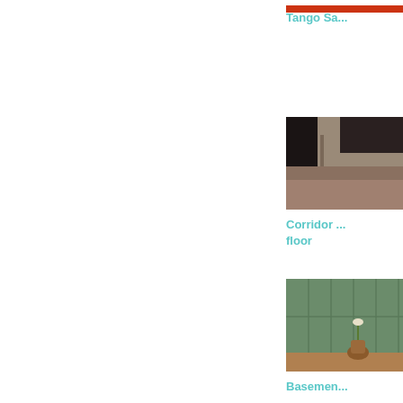[Figure (photo): Tango salon room photo - partially visible at top]
Tango Sa...
[Figure (photo): Corridor room with wooden floor - interior photo showing door and wooden flooring]
Corridor ... floor
[Figure (photo): Basement room with green paneled walls and a pot plant on wooden floor]
Basemen...